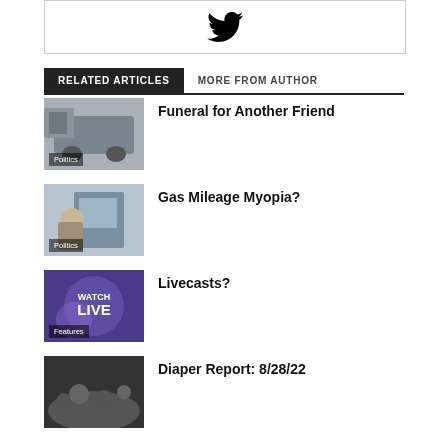[Figure (logo): Twitter bird logo icon in black]
RELATED ARTICLES | MORE FROM AUTHOR
[Figure (photo): Car on street - Politics category thumbnail]
Funeral for Another Friend
[Figure (photo): Cartoon illustration at gas pump - Politics category thumbnail]
Gas Mileage Myopia?
[Figure (photo): Watch Live event photo - Features category thumbnail]
Livecasts?
[Figure (photo): Crowd photo - article thumbnail]
Diaper Report: 8/28/22